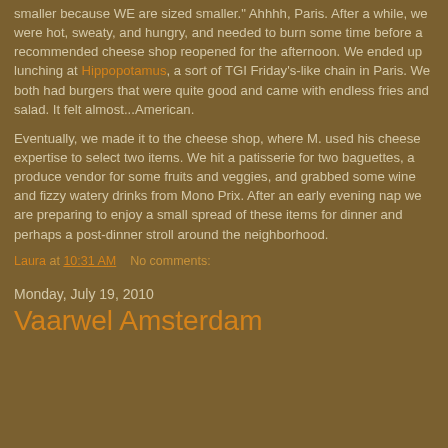smaller because WE are sized smaller." Ahhhh, Paris. After a while, we were hot, sweaty, and hungry, and needed to burn some time before a recommended cheese shop reopened for the afternoon. We ended up lunching at Hippopotamus, a sort of TGI Friday's-like chain in Paris. We both had burgers that were quite good and came with endless fries and salad. It felt almost...American.
Eventually, we made it to the cheese shop, where M. used his cheese expertise to select two items. We hit a patisserie for two baguettes, a produce vendor for some fruits and veggies, and grabbed some wine and fizzy watery drinks from Mono Prix. After an early evening nap we are preparing to enjoy a small spread of these items for dinner and perhaps a post-dinner stroll around the neighborhood.
Laura at 10:31 AM    No comments:
Monday, July 19, 2010
Vaarwel Amsterdam